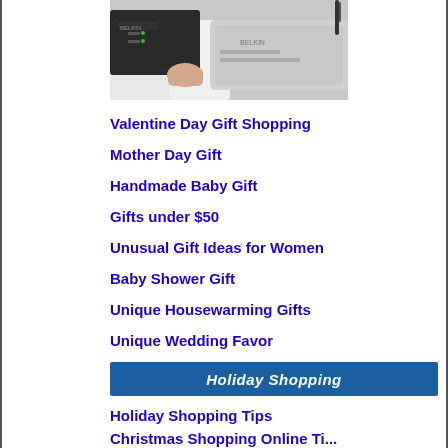[Figure (photo): Photo of wireless router and networking equipment, Belkin brand, with antenna and indicator lights]
Valentine Day Gift Shopping
Mother Day Gift
Handmade Baby Gift
Gifts under $50
Unusual Gift Ideas for Women
Baby Shower Gift
Unique Housewarming Gifts
Unique Wedding Favor
Winter Wedding Ideas
Holiday Shopping
Holiday Shopping Tips
Christmas Shopping Online Ti...